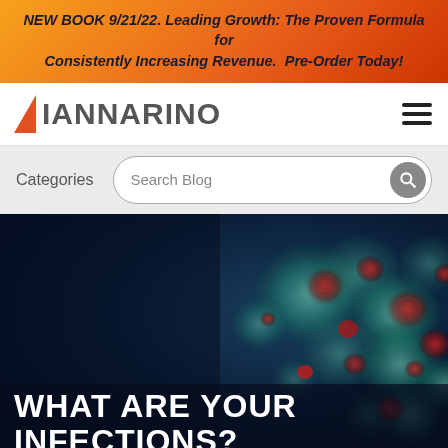NEW BOOK 9/21/22. Leading Growth: The Proven Formula for Consistently Increasing Revenue. Pre-Order Today!
[Figure (logo): Iannarino logo with orange triangle and grey text]
[Figure (infographic): Categories label and Search Blog search box with magnifying glass icon]
[Figure (photo): Microscopy image of virus cells (red and teal) on dark blue background]
WHAT ARE YOUR INFECTIONS?